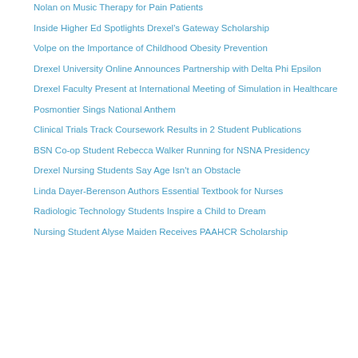Nolan on Music Therapy for Pain Patients
Inside Higher Ed Spotlights Drexel's Gateway Scholarship
Volpe on the Importance of Childhood Obesity Prevention
Drexel University Online Announces Partnership with Delta Phi Epsilon
Drexel Faculty Present at International Meeting of Simulation in Healthcare
Posmontier Sings National Anthem
Clinical Trials Track Coursework Results in 2 Student Publications
BSN Co-op Student Rebecca Walker Running for NSNA Presidency
Drexel Nursing Students Say Age Isn't an Obstacle
Linda Dayer-Berenson Authors Essential Textbook for Nurses
Radiologic Technology Students Inspire a Child to Dream
Nursing Student Alyse Maiden Receives PAAHCR Scholarship